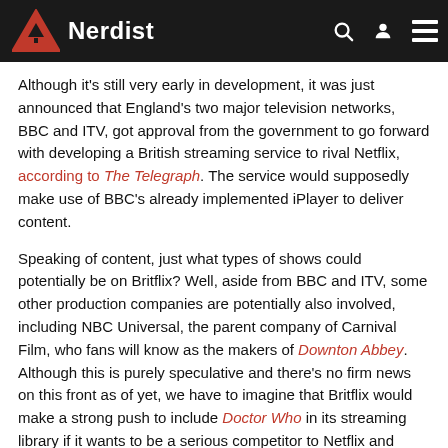Nerdist
Although it's still very early in development, it was just announced that England's two major television networks, BBC and ITV, got approval from the government to go forward with developing a British streaming service to rival Netflix, according to The Telegraph. The service would supposedly make use of BBC's already implemented iPlayer to deliver content.
Speaking of content, just what types of shows could potentially be on Britflix? Well, aside from BBC and ITV, some other production companies are potentially also involved, including NBC Universal, the parent company of Carnival Film, who fans will know as the makers of Downton Abbey. Although this is purely speculative and there's no firm news on this front as of yet, we have to imagine that Britflix would make a strong push to include Doctor Who in its streaming library if it wants to be a serious competitor to Netflix and other more established services.
The two aforementioned shows are currently streaming on